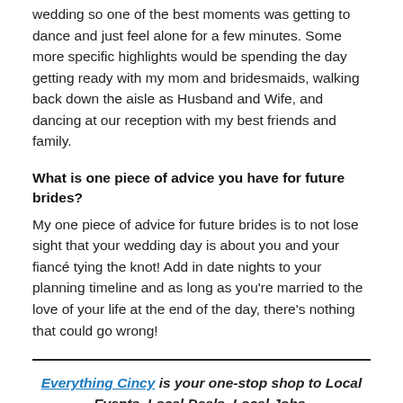wedding so one of the best moments was getting to dance and just feel alone for a few minutes. Some more specific highlights would be spending the day getting ready with my mom and bridesmaids, walking back down the aisle as Husband and Wife, and dancing at our reception with my best friends and family.
What is one piece of advice you have for future brides?
My one piece of advice for future brides is to not lose sight that your wedding day is about you and your fiancé tying the knot! Add in date nights to your planning timeline and as long as you're married to the love of your life at the end of the day, there's nothing that could go wrong!
Everything Cincy is your one-stop shop to Local Events. Local Deals. Local Jobs.